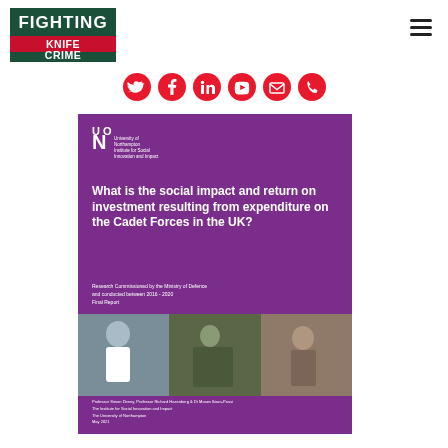[Figure (logo): Fighting Knife Crime logo — dark green background with red stripe for KNIFE]
[Figure (infographic): Social media icon bar: Twitter, Facebook, LinkedIn, YouTube, Email, Phone — all red circles with white icons]
[Figure (illustration): University of Northampton Institute for Social Innovation and Impact report cover. Purple background with report title, university logo, photo strip of cadets, and author/date footer.]
What is the social impact and return on investment resulting from expenditure on the Cadet Forces in the UK?
Research Commissioned by the Ministry of Defence and conducted between 2016 - 2020
Final Report
Professor Simon Denny, Professor Richard Hazenberg & Dr Moses Ikiara-Passi
The Institute for Social Innovation and Impact
The University of Northampton
May 2021